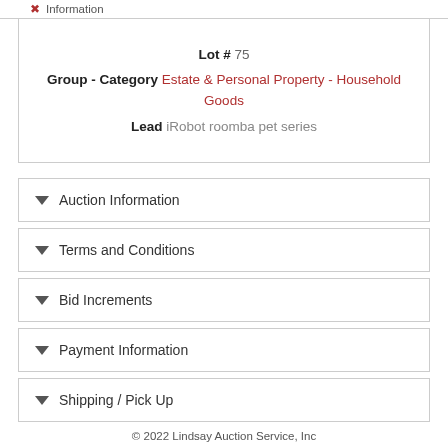Information
Lot # 75
Group - Category Estate & Personal Property - Household Goods
Lead iRobot roomba pet series
Auction Information
Terms and Conditions
Bid Increments
Payment Information
Shipping / Pick Up
© 2022 Lindsay Auction Service, Inc